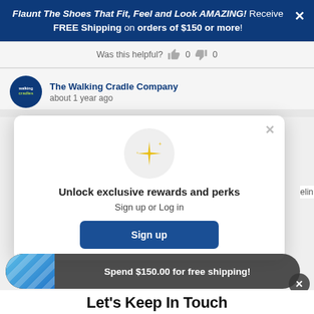Flaunt The Shoes That Fit, Feel and Look AMAZING! Receive FREE Shipping on orders of $150 or more!
Was this helpful? 0 0
The Walking Cradle Company
about 1 year ago
[Figure (screenshot): Modal popup with sparkle icon, text 'Unlock exclusive rewards and perks', 'Sign up or Log in', and a Sign up button]
Spend $150.00 for free shipping!
Let's Keep In Touch